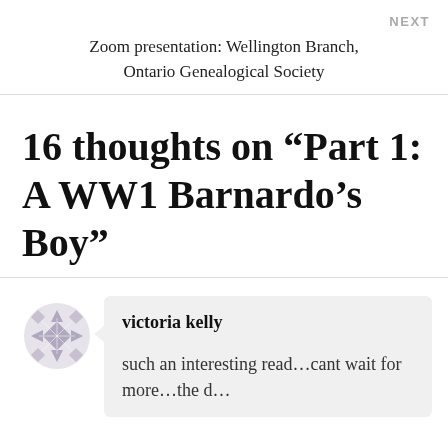NEXT
Zoom presentation: Wellington Branch, Ontario Genealogical Society
16 thoughts on “Part 1: A WW1 Barnardo’s Boy”
victoria kelly

such an interesting read...cant wait for more...the d...